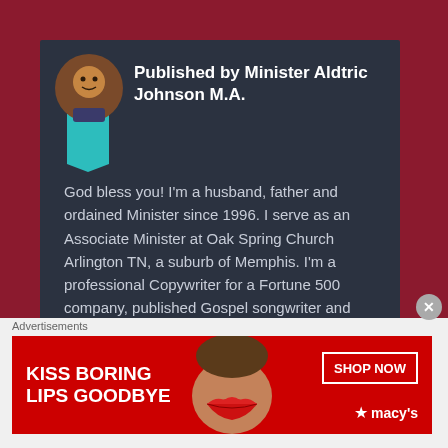Published by Minister Aldtric Johnson M.A.
God bless you! I'm a husband, father and ordained Minister since 1996. I serve as an Associate Minister at Oak Spring Church Arlington TN, a suburb of Memphis. I'm a professional Copywriter for a Fortune 500 company, published Gospel songwriter and owner of an independent label, Al-Go-Rhythm Music. My main spiritual gift is Exhortation...I'm a natural encourager. I love the word of God and sharing it from a "Wow, I never thought of it like that before" perspective. There's so much fresh revelation in God's word that is just as relevant today as
Advertisements
[Figure (infographic): Advertisement banner for Macy's lipstick: 'KISS BORING LIPS GOODBYE' with SHOP NOW button and Macy's star logo on red background]